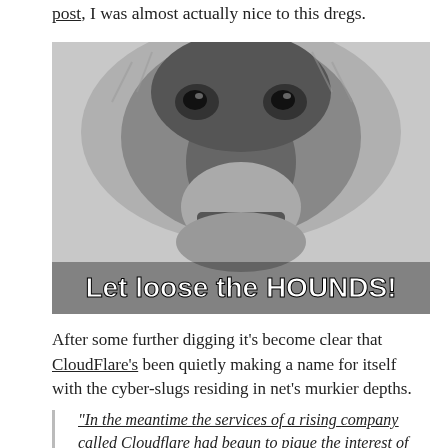post, I was almost actually nice to this dregs.
[Figure (photo): Black and white close-up photograph of a growling wolf showing teeth, with bold white text overlay reading 'Let loose the HOUNDS!']
After some further digging it's become clear that CloudFlare's been quietly making a name for itself with the cyber-slugs residing in net's murkier depths.
“In the meantime the services of a rising company called Cloudflare had begun to pique the interest of